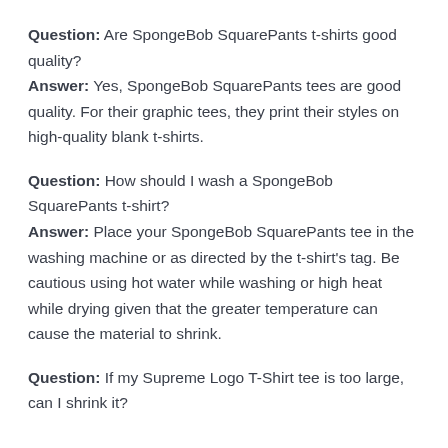Question: Are SpongeBob SquarePants t-shirts good quality? Answer: Yes, SpongeBob SquarePants tees are good quality. For their graphic tees, they print their styles on high-quality blank t-shirts.
Question: How should I wash a SpongeBob SquarePants t-shirt? Answer: Place your SpongeBob SquarePants tee in the washing machine or as directed by the t-shirt's tag. Be cautious using hot water while washing or high heat while drying given that the greater temperature can cause the material to shrink.
Question: If my Supreme Logo T-Shirt tee is too large, can I shrink it?